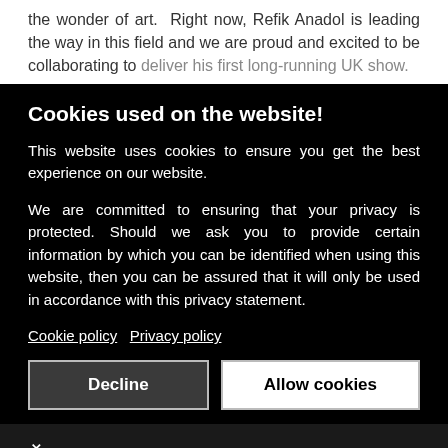the wonder of art.  Right now, Refik Anadol is leading the way in this field and we are proud and excited to be collaborating to deliver his first long-running UK show.
Cookies used on the website!
This website uses cookies to ensure you get the best experience on our website.
We are committed to ensuring that your privacy is protected. Should we ask you to provide certain information by which you can be identified when using this website, then you can be assured that it will only be used in accordance with this privacy statement.
Cookie policy   Privacy policy
Decline   Allow cookies
[Figure (infographic): Hair Cuttery advertisement with logo showing HC letters, Walk-Ins Available text, and navigation arrow icon]